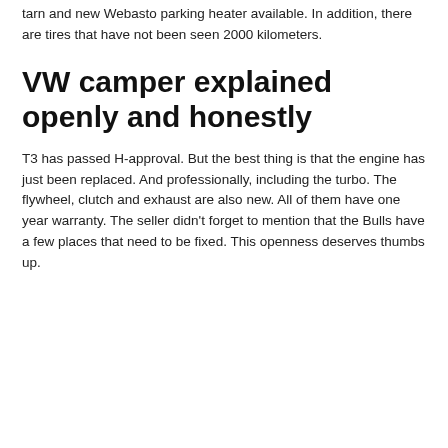tarn and new Webasto parking heater available. In addition, there are tires that have not been seen 2000 kilometers.
VW camper explained openly and honestly
T3 has passed H-approval. But the best thing is that the engine has just been replaced. And professionally, including the turbo. The flywheel, clutch and exhaust are also new. All of them have one year warranty. The seller didn't forget to mention that the Bulls have a few places that need to be fixed. This openness deserves thumbs up.